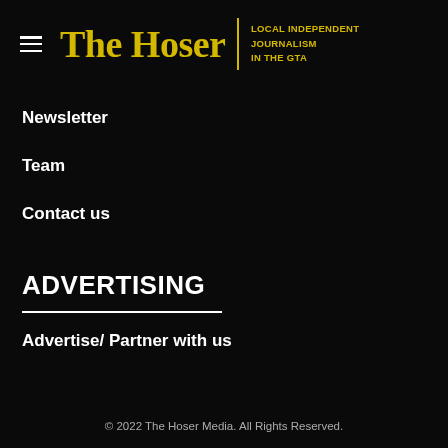The Hoser | LOCAL INDEPENDENT JOURNALISM IN THE GTA
Newsletter
Team
Contact us
ADVERTISING
Advertise/ Partner with us
© 2022 The Hoser Media. All Rights Reserved.